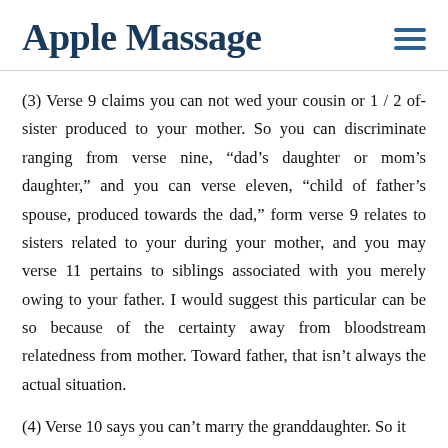Apple Massage
(3) Verse 9 claims you can not wed your cousin or 1 / 2 of-sister produced to your mother. So you can discriminate ranging from verse nine, “dad’s daughter or mom’s daughter,” and you can verse eleven, “child of father’s spouse, produced towards the dad,” form verse 9 relates to sisters related to your during your mother, and you may verse 11 pertains to siblings associated with you merely owing to your father. I would suggest this particular can be so because of the certainty away from bloodstream relatedness from mother. Toward father, that isn’t always the actual situation.
(4) Verse 10 says you can’t marry the granddaughter. So it